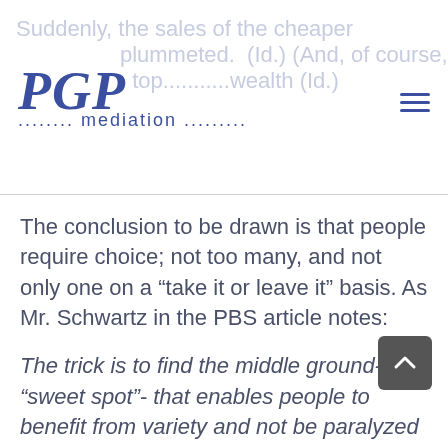PGP mediation
The conclusion to be drawn is that people require choice; not too many, and not only one on a “take it or leave it” basis. As Mr. Schwartz in the PBS article notes:
The trick is to find the middle ground-the “sweet spot”- that enables people to benefit from variety and not be paralyzed by it. Choice is good but there can be too much of a good thing...." (Id.)
Turning to negotiations, to settle a dispute,